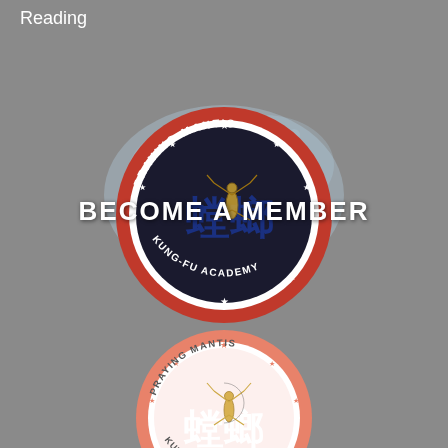Reading
BECOME A MEMBER
[Figure (logo): Praying Mantis Kung-Fu Academy circular logo with red border, Chinese characters, praying mantis illustration, stars, and watercolor splash background]
[Figure (logo): Praying Mantis Kung-Fu Academy circular logo with salmon/pink border, Chinese characters in white, praying mantis illustration, stars — smaller version at bottom]